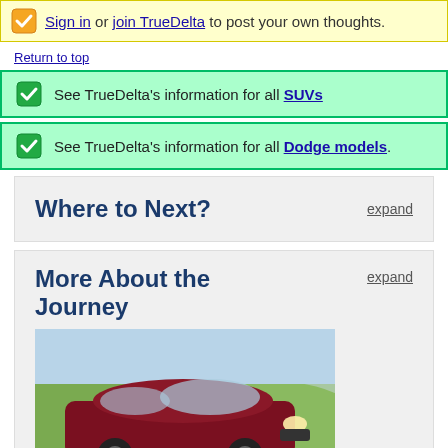Sign in or join TrueDelta to post your own thoughts.
Return to top
See TrueDelta's information for all SUVs
See TrueDelta's information for all Dodge models.
Where to Next?
More About the Journey
[Figure (photo): Photo of a dark red Dodge Journey SUV parked outdoors with green hills in the background.]